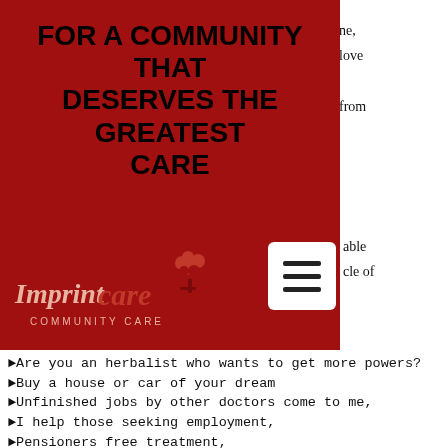FOR A COMMUNITY THAT DESERVES THE GREATEST CARE
ne, love from
[Figure (logo): Imprint Care Community Care logo with red tree and cursive/serif text on dark red background]
able cle of
► Are you an herbalist who wants to get more powers?
► Buy a house or car of your dream
► Unfinished jobs by other doctors come to me,
► I help those seeking employment,
► Pensioners free treatment,
► Win business tenders and contracts
► Do you need to recover your lost property?
► Promotion at work and better pay,
► Do you want to be protected from bad